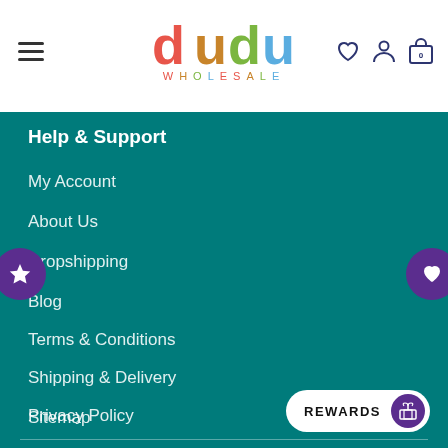[Figure (logo): Dudu Wholesale colorful logo with hamburger menu, heart, person, and shopping bag icons in the header]
Help & Support
My Account
About Us
Dropshipping
Blog
Terms & Conditions
Shipping & Delivery
Privacy Policy
Sitemap